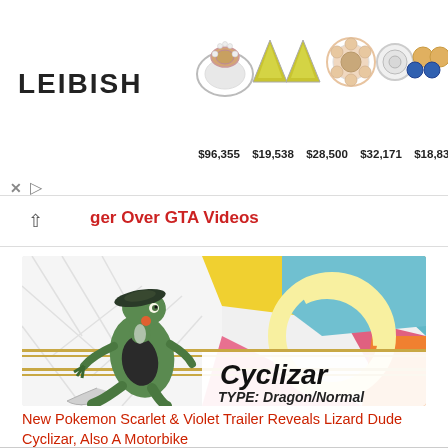[Figure (screenshot): Leibish jewelry advertisement banner showing 5 jewelry pieces (ring, triangle earrings, flower earring, stud earring, cluster earrings) with prices below: $96,355, $19,538, $28,500, $32,171, $18,832. Leibish logo on the left.]
ger Over GTA Videos
[Figure (screenshot): Pokemon card image showing Cyclizar, a green lizard-like dragon/normal type Pokemon, standing in front of a colorful geometric background. Text reads 'Cyclizar' in bold italic and 'TYPE: Dragon/Normal' below.]
New Pokemon Scarlet & Violet Trailer Reveals Lizard Dude Cyclizar, Also A Motorbike